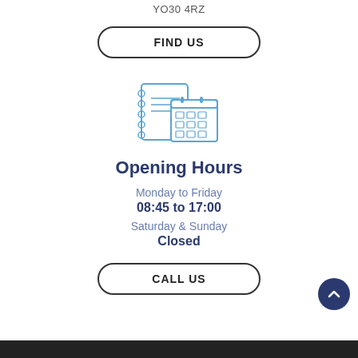YO30 4RZ
FIND US
[Figure (illustration): Blue outline icon of a notebook and calendar]
Opening Hours
Monday to Friday
08:45 to 17:00
Saturday & Sunday
Closed
CALL US